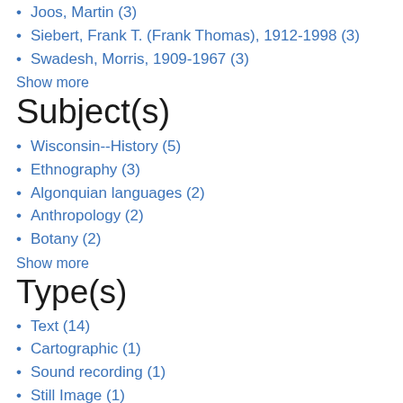Joos, Martin (3)
Siebert, Frank T. (Frank Thomas), 1912-1998 (3)
Swadesh, Morris, 1909-1967 (3)
Show more
Subject(s)
Wisconsin--History (5)
Ethnography (3)
Algonquian languages (2)
Anthropology (2)
Botany (2)
Show more
Type(s)
Text (14)
Cartographic (1)
Sound recording (1)
Still Image (1)
Genre(s)
Vocabularies (11)